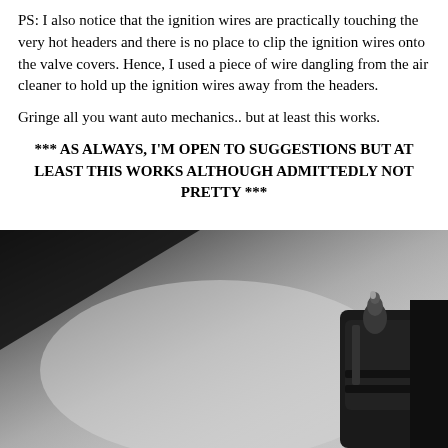PS: I also notice that the ignition wires are practically touching the very hot headers and there is no place to clip the ignition wires onto the valve covers. Hence, I used a piece of wire dangling from the air cleaner to hold up the ignition wires away from the headers.
Gringe all you want auto mechanics.. but at least this works.
*** AS ALWAYS, I'M OPEN TO SUGGESTIONS BUT AT LEAST THIS WORKS ALTHOUGH ADMITTEDLY NOT PRETTY ***
[Figure (photo): Close-up photo of what appears to be a dark metal automotive part (possibly a spark plug wire connector or ignition component) against a light gray background. The object is positioned in the right portion of the frame.]